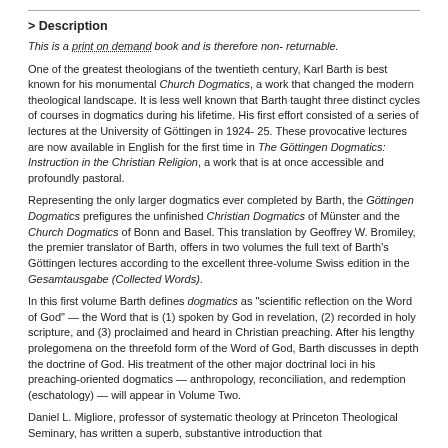> Description
This is a print on demand book and is therefore non- returnable.
One of the greatest theologians of the twentieth century, Karl Barth is best known for his monumental Church Dogmatics, a work that changed the modern theological landscape. It is less well known that Barth taught three distinct cycles of courses in dogmatics during his lifetime. His first effort consisted of a series of lectures at the University of Göttingen in 1924- 25. These provocative lectures are now available in English for the first time in The Göttingen Dogmatics: Instruction in the Christian Religion, a work that is at once accessible and profoundly pastoral.
Representing the only larger dogmatics ever completed by Barth, the Göttingen Dogmatics prefigures the unfinished Christian Dogmatics of Münster and the Church Dogmatics of Bonn and Basel. This translation by Geoffrey W. Bromiley, the premier translator of Barth, offers in two volumes the full text of Barth's Göttingen lectures according to the excellent three-volume Swiss edition in the Gesamtausgabe (Collected Words).
In this first volume Barth defines dogmatics as "scientific reflection on the Word of God" — the Word that is (1) spoken by God in revelation, (2) recorded in holy scripture, and (3) proclaimed and heard in Christian preaching. After his lengthy prolegomena on the threefold form of the Word of God, Barth discusses in depth the doctrine of God. His treatment of the other major doctrinal loci in his preaching-oriented dogmatics — anthropology, reconciliation, and redemption (eschatology) — will appear in Volume Two.
Daniel L. Migliore, professor of systematic theology at Princeton Theological Seminary, has written a superb, substantive introduction that